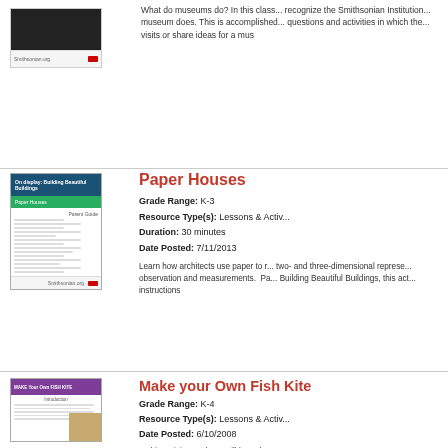[Figure (screenshot): Thumbnail of a document page with dark header bar]
What do museums do? In this class... recognize the Smithsonian Institution... museum does. This is accomplished... questions and activities in which the... visits or share ideas for a mus
[Figure (screenshot): Thumbnail of Paper Houses resource document with blue header and green subheader]
Paper Houses
Grade Range: K-3
Resource Type(s): Lessons & Activ...
Duration: 30 minutes
Date Posted: 7/11/2013
Learn how architects use paper to r... two- and three-dimensional represe... observation and measurements.  Pa... Building Beautiful Buildings, this act... instructions
[Figure (screenshot): Thumbnail of Make your Own Fish Kite resource with purple header]
Make your Own Fish Kite
Grade Range: K-4
Resource Type(s): Lessons & Activ...
Date Posted: 6/10/2008
In this activity, students will learn ho...